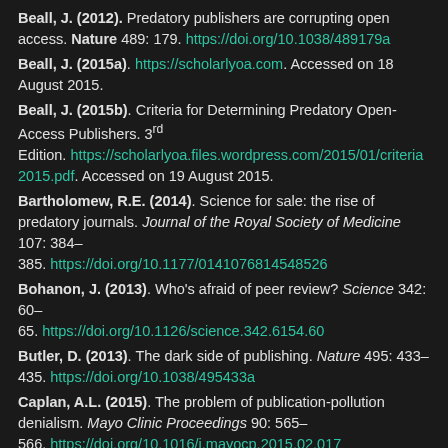Beall, J. (2012). Predatory publishers are corrupting open access. Nature 489: 179. https://doi.org/10.1038/489179a
Beall, J. (2015a). https://scholarlyoa.com. Accessed on 18 August 2015.
Beall, J. (2015b). Criteria for Determining Predatory Open-Access Publishers. 3rd Edition. https://scholarlyoa.files.wordpress.com/2015/01/criteria2015.pdf. Accessed on 19 August 2015.
Bartholomew, R.E. (2014). Science for sale: the rise of predatory journals. Journal of the Royal Society of Medicine 107: 384–385. https://doi.org/10.1177/0141076814548526
Bohanon, J. (2013). Who's afraid of peer review? Science 342: 60–65. https://doi.org/10.1126/science.342.6154.60
Butler, D. (2013). The dark side of publishing. Nature 495: 433–435. https://doi.org/10.1038/495433a
Caplan, A.L. (2015). The problem of publication-pollution denialism. Mayo Clinic Proceedings 90: 565–566. https://doi.org/10.1016/j.mayocp.2015.02.017
Clark, J. (2015). How to avoid predatory journals - a five